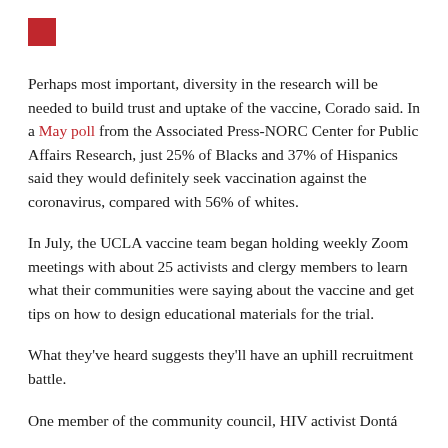[Figure (other): Red square decorative element in top-left corner]
Perhaps most important, diversity in the research will be needed to build trust and uptake of the vaccine, Corado said. In a May poll from the Associated Press-NORC Center for Public Affairs Research, just 25% of Blacks and 37% of Hispanics said they would definitely seek vaccination against the coronavirus, compared with 56% of whites.
In July, the UCLA vaccine team began holding weekly Zoom meetings with about 25 activists and clergy members to learn what their communities were saying about the vaccine and get tips on how to design educational materials for the trial.
What they've heard suggests they'll have an uphill recruitment battle.
One member of the community council, HIV activist Dontá